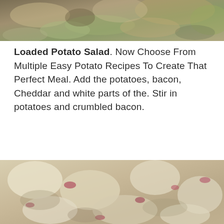[Figure (photo): Close-up photo of a salad with green and mixed ingredients, partially visible at top of page]
Loaded Potato Salad. Now Choose From Multiple Easy Potato Recipes To Create That Perfect Meal. Add the potatoes, bacon, Cheddar and white parts of the. Stir in potatoes and crumbled bacon.
[Figure (photo): Close-up photo of loaded potato salad showing chunky potatoes mixed with bacon bits and creamy dressing]